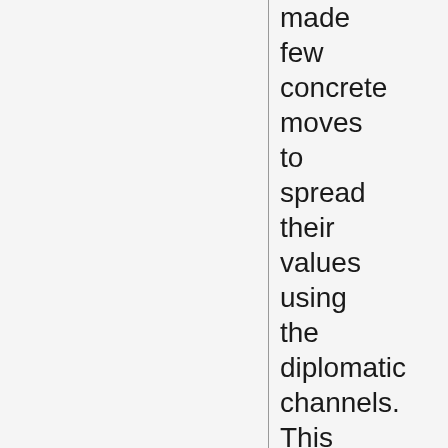made few concrete moves to spread their values using the diplomatic channels. This is usually seen